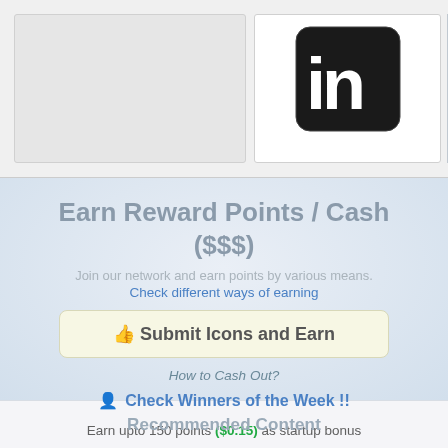[Figure (screenshot): Top strip with three image cards: a gray placeholder card, a LinkedIn logo card, and a partial blue/water image card]
Earn Reward Points / Cash ($$$)
Join our network and earn points by various means.
Check different ways of earning
👍 Submit Icons and Earn
How to Cash Out?
🧑 Check Winners of the Week !!
Earn upto 150 points ($0.15) as startup bonus Not a member Yet? Join Now and start earning.
Recommended Content